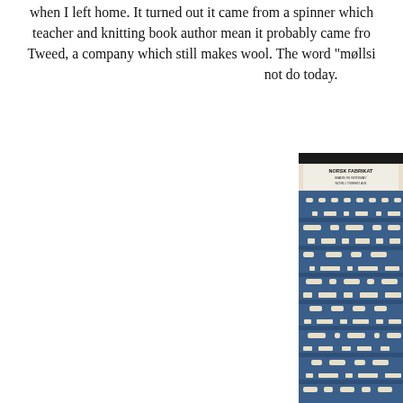when I left home. It turned out it came from a spinner which teacher and knitting book author mean it probably came fro Tweed, a company which still makes wool. The word "møllsi not do today.
[Figure (photo): Close-up photograph of a knitted garment in blue and cream/white colors with a Nordic/Fair Isle pattern. A label reading 'NORSK FABRIKAT / MADE IN NORWAY / NORLI TWEED A/S' is visible at the top of the garment.]